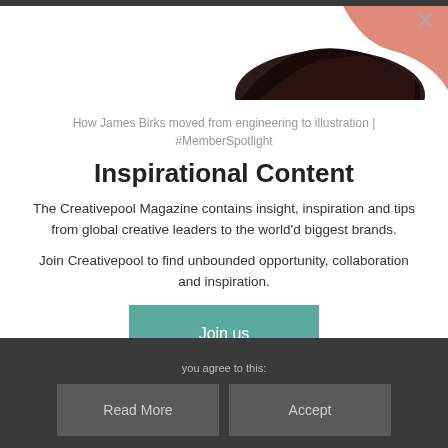[Figure (photo): Cropped photo showing dark hair against a pink/salmon background, partially visible at the top of the modal]
How James Birks moved from engineering to illustration | #MemberSpotlight
Inspirational Content
The Creativepool Magazine contains insight, inspiration and tips from global creative leaders to the world'd biggest brands.
Join Creativepool to find unbounded opportunity, collaboration and inspiration.
Join us
Already a member? Login here
you agree to this:
Read More
Accept